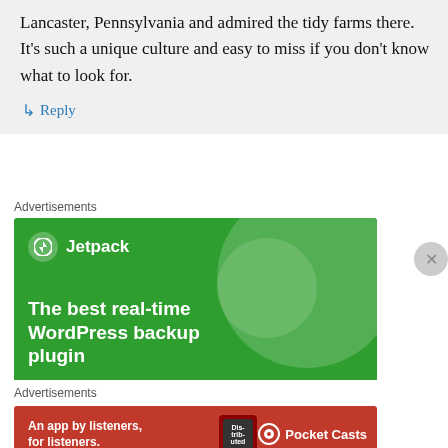Lancaster, Pennsylvania and admired the tidy farms there. It's such a unique culture and easy to miss if you don't know what to look for.
↳ Reply
Advertisements
[Figure (illustration): Jetpack WordPress plugin advertisement with green background, circular design elements, Jetpack logo, and text 'The best real-time WordPress backup plugin']
Advertisements
[Figure (illustration): Pocket Casts app advertisement with red background, showing phone with 'Distributed' text, and 'An app by listeners, for listeners.' tagline with Pocket Casts logo]